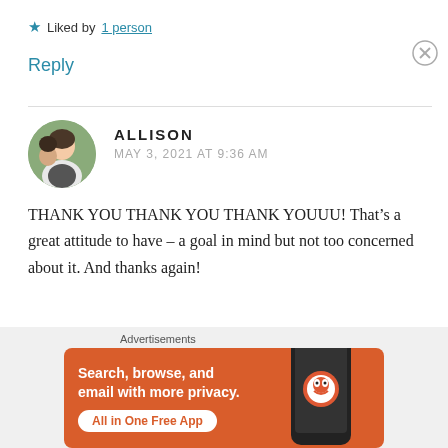★ Liked by 1 person
Reply
ALLISON
MAY 3, 2021 AT 9:36 AM
THANK YOU THANK YOU THANK YOUUU! That's a great attitude to have – a goal in mind but not too concerned about it. And thanks again!
[Figure (infographic): DuckDuckGo advertisement banner with orange background. Text reads: Search, browse, and email with more privacy. All in One Free App. Shows a phone with DuckDuckGo logo.]